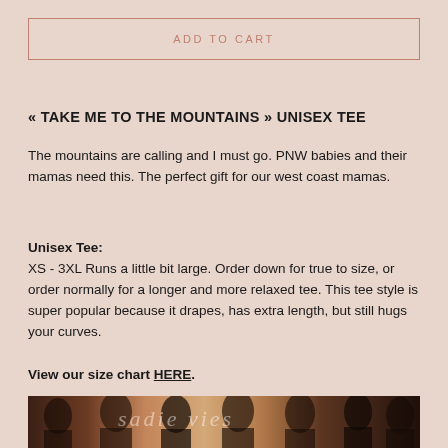ADD TO CART
« TAKE ME TO THE MOUNTAINS » UNISEX TEE
The mountains are calling and I must go. PNW babies and their mamas need this. The perfect gift for our west coast mamas.
Unisex Tee:
XS - 3XL Runs a little bit large. Order down for true to size, or order normally for a longer and more relaxed tee. This tee style is super popular because it drapes, has extra length, but still hugs your curves.
View our size chart HERE.
[Figure (photo): Group photo of several women wearing dark graphic tees, arranged side by side, with a script brand watermark overlay.]